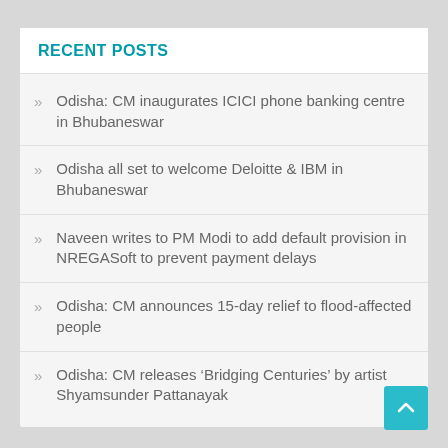RECENT POSTS
Odisha: CM inaugurates ICICI phone banking centre in Bhubaneswar
Odisha all set to welcome Deloitte & IBM in Bhubaneswar
Naveen writes to PM Modi to add default provision in NREGASoft to prevent payment delays
Odisha: CM announces 15-day relief to flood-affected people
Odisha: CM releases 'Bridging Centuries' by artist Shyamsunder Pattanayak